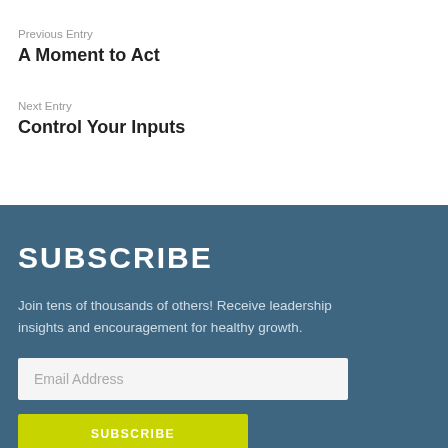Previous Entry
A Moment to Act
Next Entry
Control Your Inputs
SUBSCRIBE
Join tens of thousands of others! Receive leadership insights and encouragement for healthy growth.
Email Address
SUBSCRIBE